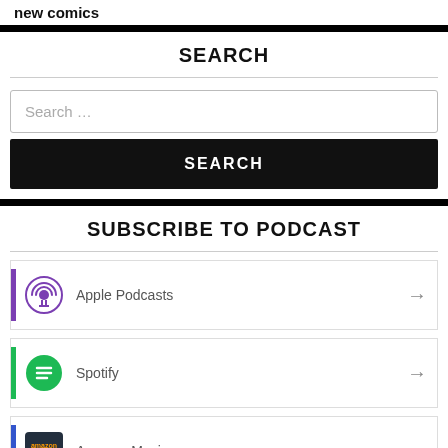new comics
SEARCH
Search …
SEARCH
SUBSCRIBE TO PODCAST
Apple Podcasts
Spotify
Amazon Music